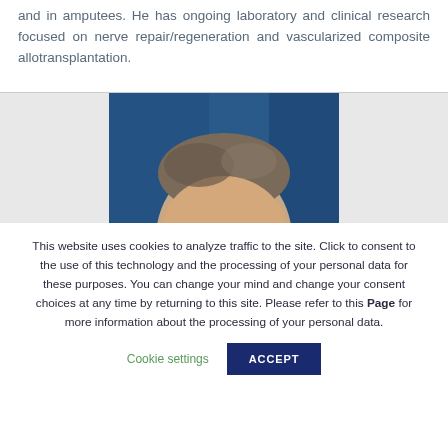and in amputees. He has ongoing laboratory and clinical research focused on nerve repair/regeneration and vascularized composite allotransplantation.
[Figure (photo): Partial headshot photo of a person against a blue background, showing top of head and forehead only.]
This website uses cookies to analyze traffic to the site. Click to consent to the use of this technology and the processing of your personal data for these purposes. You can change your mind and change your consent choices at any time by returning to this site. Please refer to this Page for more information about the processing of your personal data. Cookie settings ACCEPT